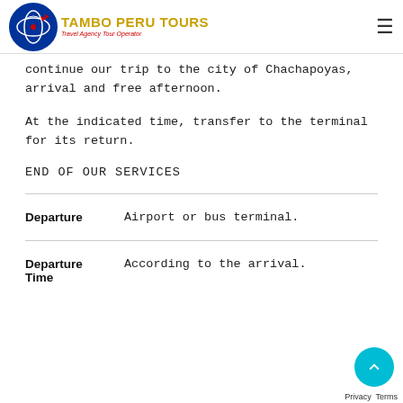TAMBO PERU TOURS - Travel Agency Tour Operator
continue our trip to the city of Chachapoyas, arrival and free afternoon.
At the indicated time, transfer to the terminal for its return.
END OF OUR SERVICES
| Field | Value |
| --- | --- |
| Departure | Airport or bus terminal. |
| Departure Time | According to the arrival. |